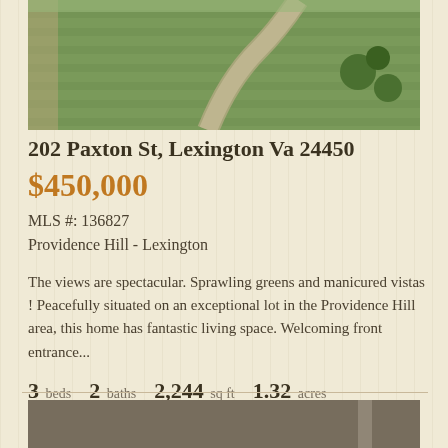[Figure (photo): Aerial view of a manicured lawn with a stone pathway and round hedges]
202 Paxton St, Lexington Va 24450
$450,000
MLS #: 136827
Providence Hill - Lexington
The views are spectacular. Sprawling greens and manicured vistas ! Peacefully situated on an exceptional lot in the Providence Hill area, this home has fantastic living space. Welcoming front entrance...
3 beds   2 baths   2,244 sq ft   1.32 acres
[Figure (photo): Interior room photo partially visible at bottom of page]